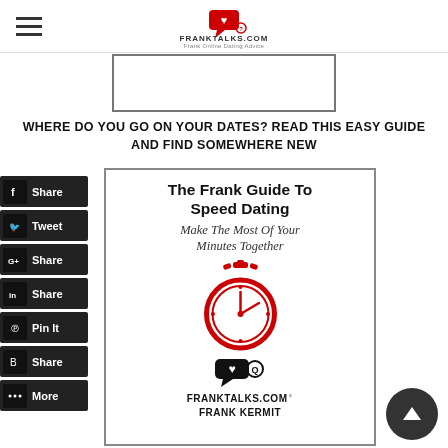FRANKTALKS.COM
[Figure (screenshot): Top partial image of a book cover or article thumbnail, partially cropped]
WHERE DO YOU GO ON YOUR DATES? READ THIS EASY GUIDE AND FIND SOMEWHERE NEW
[Figure (illustration): Social media share buttons: Facebook Share, Twitter Tweet, Google+ Share, LinkedIn Share, Pinterest Pin It, Blogger Share, More]
[Figure (illustration): Book cover: The Frank Guide To Speed Dating - Make The Most Of Your Minutes Together, with red stopwatch graphic and FRANKTALKS.COM logo, by Frank Kermit]